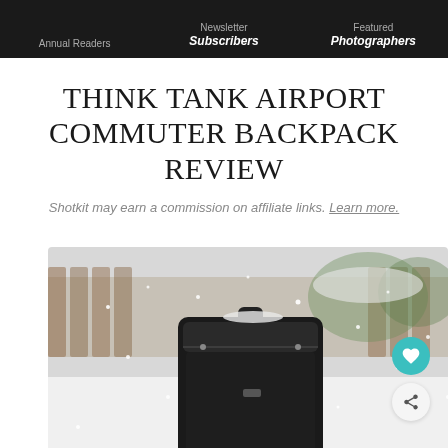Annual Readers | Newsletter Subscribers | Featured Photographers
THINK TANK AIRPORT COMMUTER BACKPACK REVIEW
Shotkit may earn a commission on affiliate links. Learn more.
[Figure (photo): Black Think Tank Airport Commuter backpack photographed outdoors in snowy conditions, sitting in snow with a blurred winter background of fence and trees]